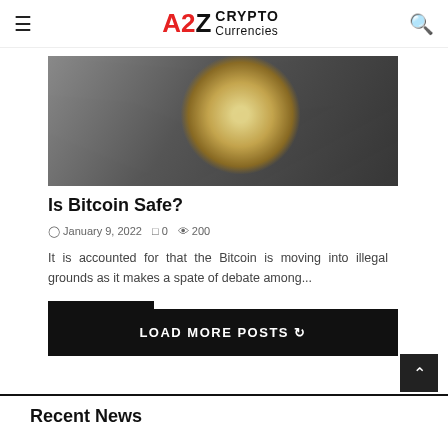A2Z CRYPTO Currencies
[Figure (photo): Bitcoin silver coin on a dark wooden surface with paper currency underneath]
Is Bitcoin Safe?
January 9, 2022  0  200
It is accounted for that the Bitcoin is moving into illegal grounds as it makes a spate of debate among...
Read more
LOAD MORE POSTS
Recent News